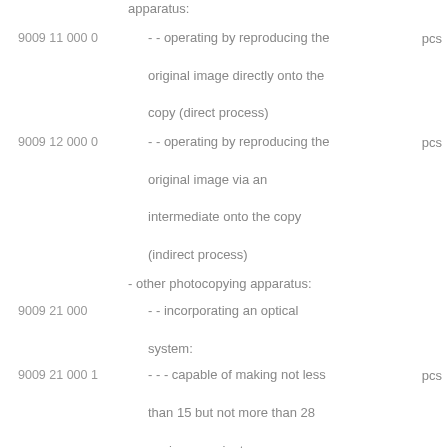apparatus:
9009 11 000 0 - - operating by reproducing the original image directly onto the copy (direct process) pcs
9009 12 000 0 - - operating by reproducing the original image via an intermediate onto the copy (indirect process) pcs
- other photocopying apparatus:
9009 21 000 - - incorporating an optical system:
9009 21 000 1 - - - capable of making not less than 15 but not more than 28 copies per minutes pcs
9009 21 000 9 - - - other pcs
9009 22 000 0 - of the contact type pcs